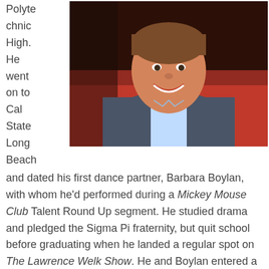Polytechnic High. He went on to Cal State Long Beach
[Figure (photo): A smiling older man with brown hair, wearing a grey blazer and light blue open-collar shirt, seated in front of a red booth/seat background.]
and dated his first dance partner, Barbara Boylan, with whom he'd performed during a Mickey Mouse Club Talent Round Up segment. He studied drama and pledged the Sigma Pi fraternity, but quit school before graduating when he landed a regular spot on The Lawrence Welk Show. He and Boylan entered a dance contest to win a chance to appear on Welk, and viewers loved them so much they stayed on the program as partners for six years. Even after Boylan left...